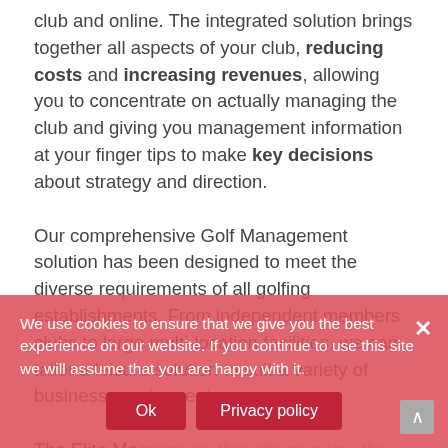club and online. The integrated solution brings together all aspects of your club, reducing costs and increasing revenues, allowing you to concentrate on actually managing the club and giving you management information at your finger tips to make key decisions about strategy and direction.
Our comprehensive Golf Management solution has been designed to meet the diverse requirements of all golfing establishments. From independent members clubs to large multi-location facilities, we can tailor a leisure solution to suit a variety of business requirements.
The Elite Mas... striving to give you the best excelled in... of Elite, incorporates a host of golf specific functionality suc... and competition management.
We use cookies to ensure that we give you the best experience on our website. If you continue to use this site we will assume that you are happy with it.